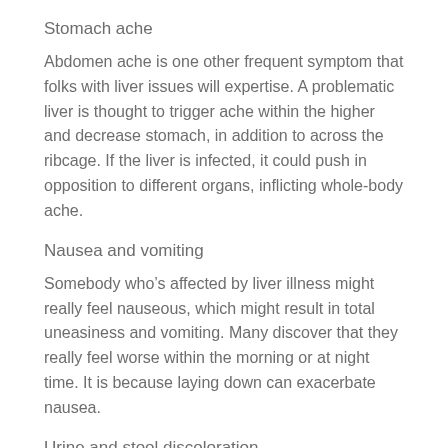Stomach ache
Abdomen ache is one other frequent symptom that folks with liver issues will expertise. A problematic liver is thought to trigger ache within the higher and decrease stomach, in addition to across the ribcage. If the liver is infected, it could push in opposition to different organs, inflicting whole-body ache.
Nausea and vomiting
Somebody who’s affected by liver illness might really feel nauseous, which might result in total uneasiness and vomiting. Many discover that they really feel worse within the morning or at night time. It is because laying down can exacerbate nausea.
Urine and stool discoloration